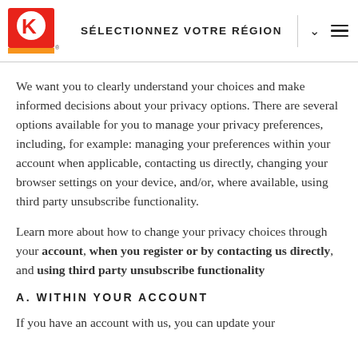SÉLECTIONNEZ VOTRE RÉGION
We want you to clearly understand your choices and make informed decisions about your privacy options. There are several options available for you to manage your privacy preferences, including, for example: managing your preferences within your account when applicable, contacting us directly, changing your browser settings on your device, and/or, where available, using third party unsubscribe functionality.
Learn more about how to change your privacy choices through your account, when you register or by contacting us directly, and using third party unsubscribe functionality
A. WITHIN YOUR ACCOUNT
If you have an account with us, you can update your